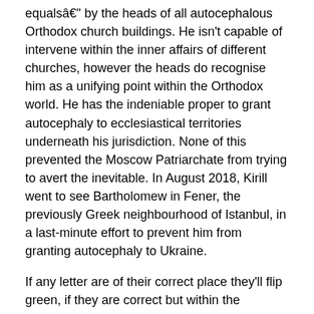equalsâ by the heads of all autocephalous Orthodox church buildings. He isn't capable of intervene within the inner affairs of different churches, however the heads do recognise him as a unifying point within the Orthodox world. He has the indeniable proper to grant autocephaly to ecclesiastical territories underneath his jurisdiction. None of this prevented the Moscow Patriarchate from trying to avert the inevitable. In August 2018, Kirill went to see Bartholomew in Fener, the previously Greek neighbourhood of Istanbul, in a last-minute effort to prevent him from granting autocephaly to Ukraine.
If any letter are of their correct place they'll flip green, if they are correct but within the incorrect place, they flip orange, and if they donât show up within the word they flip black. This is a troublesome https://www.stluciamirroronline.com/help-with-thesis-editing/ subject, and Satyajit Rayâs stunning film of The Home and the World brilliantly brings out the novelâs tensions, together with the human affections